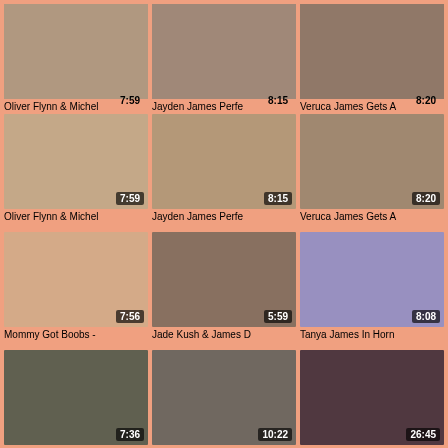[Figure (screenshot): Video thumbnail grid showing adult video content listings with titles and durations]
Oliver Flynn & Michel 7:59
Jayden James Perfe 8:15
Veruca James Gets A 8:20
Mommy Got Boobs - 7:56
Jade Kush & James D 5:59
Tanya James In Horn 8:08
Home Movie Of Nikita 7:36
THE INFAMOUS LEM 10:22
Fabulous Adult Movie 26:45